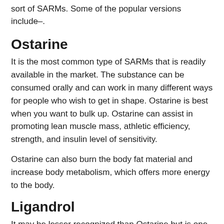sort of SARMs. Some of the popular versions include–.
Ostarine
It is the most common type of SARMs that is readily available in the market. The substance can be consumed orally and can work in many different ways for people who wish to get in shape. Ostarine is best when you want to bulk up. Ostarine can assist in promoting lean muscle mass, athletic efficiency, strength, and insulin level of sensitivity.
Ostarine can also burn the body fat material and increase body metabolism, which offers more energy to the body.
Ligandrol
It may be lesser recognized than Ostarine but is one of the popular variations of SARMs. Ligandrol is understood to maintain or cut down lean muscle tissue.
However, fitness enthusiasts like to take it during the cutting